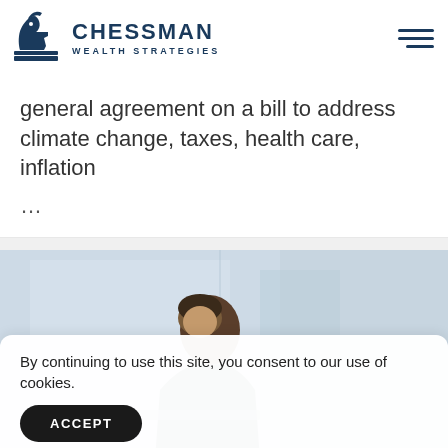[Figure (logo): Chessman Wealth Strategies logo with chess knight icon and company name]
general agreement on a bill to address climate change, taxes, health care, inflation

...
[Figure (photo): Person sitting at a desk, blurred office background]
By continuing to use this site, you consent to our use of cookies.